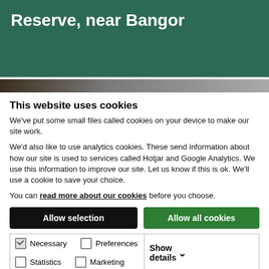Reserve, near Bangor
[Figure (photo): Photo strip showing nature reserve scenery near Bangor]
This website uses cookies
We've put some small files called cookies on your device to make our site work.
We'd also like to use analytics cookies. These send information about how our site is used to services called Hotjar and Google Analytics. We use this information to improve our site. Let us know if this is ok. We'll use a cookie to save your choice.
You can read more about our cookies before you choose.
Allow selection
Allow all cookies
| Checkbox | Option | Action |
| --- | --- | --- |
| Necessary (checked) | Preferences | Show details |
| Statistics | Marketing |  |